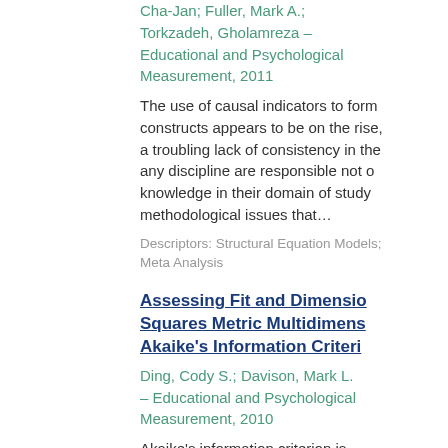Cha-Jan; Fuller, Mark A.; Torkzadeh, Gholamreza – Educational and Psychological Measurement, 2011
The use of causal indicators to form constructs appears to be on the rise, a troubling lack of consistency in the any discipline are responsible not o knowledge in their domain of study methodological issues that…
Descriptors: Structural Equation Models; Meta Analysis
Assessing Fit and Dimensio… Squares Metric Multidimens… Akaike's Information Criteri…
Ding, Cody S.; Davison, Mark L. – Educational and Psychological Measurement, 2010
Akaike's information criterion is suggested as a tool for evaluating fi multidimensional scaling that uses l estimation. This criterion combines function with the number of estimate…